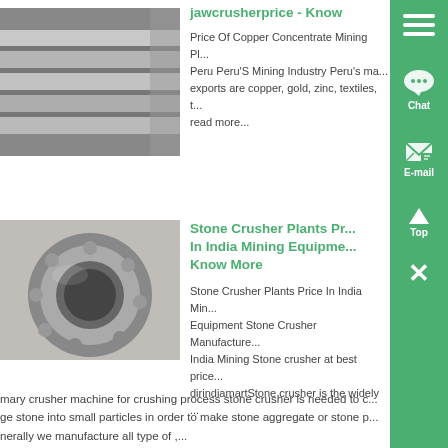jawcrusherprice - Know
Price Of Copper Concentrate Mining Pl... Peru Peru'S Mining Industry Peru's ma... exports are copper, gold, zinc, textiles, t... read more...
[Figure (photo): Photo of metal rails/slabs stacked in a warehouse or industrial facility]
Stone Crusher Plants Pr... In India Mining Equipme... Know More
Stone Crusher Plants Price In India Min... Equipment Stone Crusher Manufacture... India Mining Stone crusher at best price... dirindiamartStone crusher is the widely ... mary crusher machine for crushing process stone crusher is needed to c... ge stone into small particles in order to make stone aggregate or stone p... nerally we manufacture all type of ,...
[Figure (photo): Photo of a large industrial bearing (spherical roller bearing) on a surface]